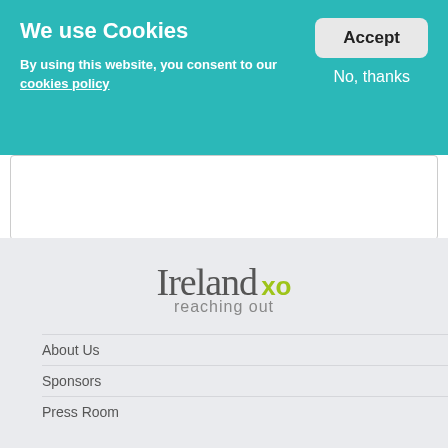We use Cookies
By using this website, you consent to our cookies policy
[Figure (screenshot): Cookie consent banner with Accept button and No, thanks link on teal background]
[Figure (logo): Ireland XO reaching out logo on light grey footer background]
About Us
Sponsors
Press Room